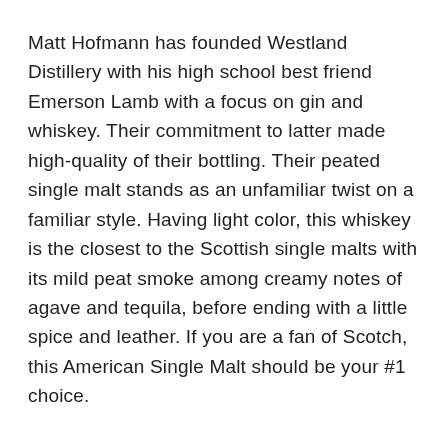Matt Hofmann has founded Westland Distillery with his high school best friend Emerson Lamb with a focus on gin and whiskey. Their commitment to latter made high-quality of their bottling. Their peated single malt stands as an unfamiliar twist on a familiar style. Having light color, this whiskey is the closest to the Scottish single malts with its mild peat smoke among creamy notes of agave and tequila, before ending with a little spice and leather. If you are a fan of Scotch, this American Single Malt should be your #1 choice.